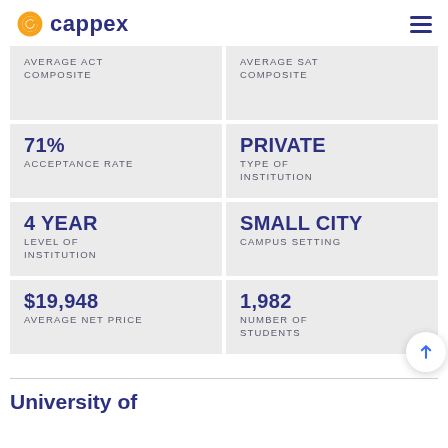cappex
|  |  |
| --- | --- |
| AVERAGE ACT COMPOSITE | AVERAGE SAT COMPOSITE |
| 71%
ACCEPTANCE RATE | PRIVATE
TYPE OF INSTITUTION |
| 4 YEAR
LEVEL OF INSTITUTION | SMALL CITY
CAMPUS SETTING |
| $19,948
AVERAGE NET PRICE | 1,982
NUMBER OF STUDENTS |
University of